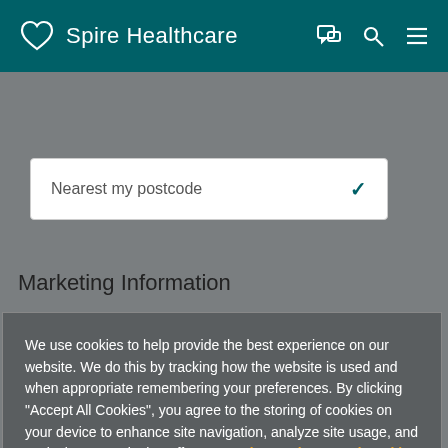Spire Healthcare
Nearest my postcode
Marketing Information
We use cookies to help provide the best experience on our website. We do this by tracking how the website is used and when appropriate remembering your preferences. By clicking "Accept All Cookies", you agree to the storing of cookies on your device to enhance site navigation, analyze site usage, and assist in our marketing efforts.  Read our privacy and cookie policy
Cookies Settings
Accept All Cookies